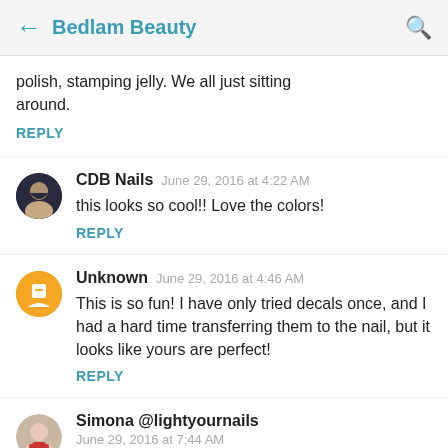← Bedlam Beauty 🔍
polish, stamping jelly. We all just sitting around.
REPLY
CDB Nails  June 29, 2016 at 4:22 AM
this looks so cool!! Love the colors!
REPLY
Unknown  June 29, 2016 at 4:46 AM
This is so fun! I have only tried decals once, and I had a hard time transferring them to the nail, but it looks like yours are perfect!
REPLY
Simona @lightyournails
June 29, 2016 at 7:44 AM
It worked indeed! I love this mani! I wished I